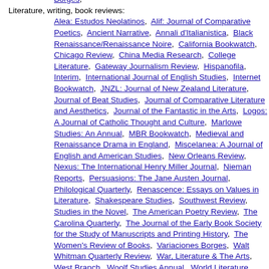Literature, writing, book reviews: Alea: Estudos Neolatinos, Alif: Journal of Comparative Poetics, Ancient Narrative, Annali d'Italianistica, Black Renaissance/Renaissance Noire, California Bookwatch, Chicago Review, China Media Research, College Literature, Gateway Journalism Review, Hispanofila, Interim, International Journal of English Studies, Internet Bookwatch, JNZL: Journal of New Zealand Literature, Journal of Beat Studies, Journal of Comparative Literature and Aesthetics, Journal of the Fantastic in the Arts, Logos: A Journal of Catholic Thought and Culture, Marlowe Studies: An Annual, MBR Bookwatch, Medieval and Renaissance Drama in England, Miscelanea: A Journal of English and American Studies, New Orleans Review, Nexus: The International Henry Miller Journal, Nieman Reports, Persuasions: The Jane Austen Journal, Philological Quarterly, Renascence: Essays on Values in Literature, Shakespeare Studies, Southwest Review, Studies in the Novel, The American Poetry Review, The Carolina Quarterly, The Journal of the Early Book Society for the Study of Manuscripts and Printing History, The Women's Review of Books, Variaciones Borges, Walt Whitman Quarterly Review, War, Literature & The Arts, West Branch, Woolf Studies Annual, World Literature Today;
Philosophy and religion: Analysis and Metaphysics, Anglican Journal, Anuario de Historia de la Iglesia, B'Or Ha'Torah, Church & State, Commerce and History, The Journal of Natural...